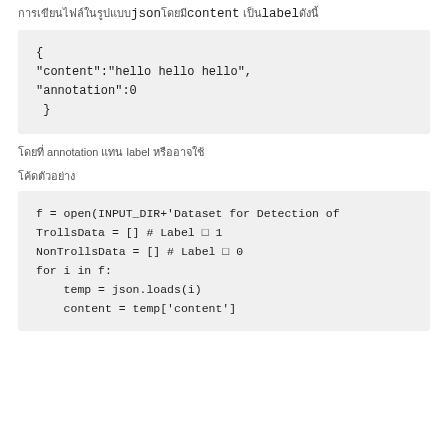... json ... content ... label ...
{
"content":"hello hello hello",
"annotation":0
 }
... (Thai text - description of data loading)
... (Thai - code label)
f = open(INPUT_DIR+'Dataset for Detection of
TrollsData = [] # Label □ 1
NonTrollsData = [] # Label □ 0
for i in f:
    temp = json.loads(i)
    content = temp['content']